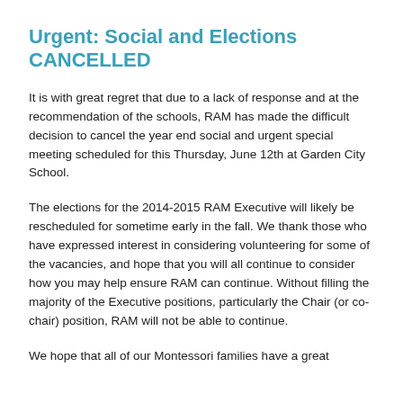Urgent: Social and Elections CANCELLED
It is with great regret that due to a lack of response and at the recommendation of the schools, RAM has made the difficult decision to cancel the year end social and urgent special meeting scheduled for this Thursday, June 12th at Garden City School.
The elections for the 2014-2015 RAM Executive will likely be rescheduled for sometime early in the fall. We thank those who have expressed interest in considering volunteering for some of the vacancies, and hope that you will all continue to consider how you may help ensure RAM can continue. Without filling the majority of the Executive positions, particularly the Chair (or co-chair) position, RAM will not be able to continue.
We hope that all of our Montessori families have a great